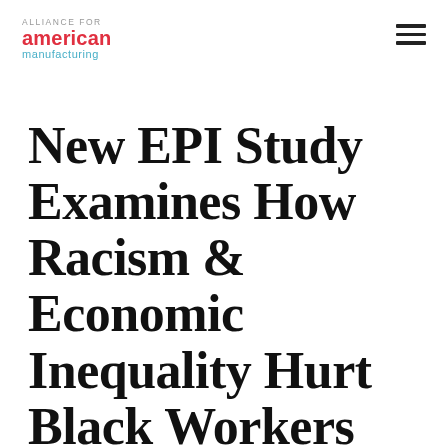ALLIANCE FOR american manufacturing
New EPI Study Examines How Racism & Economic Inequality Hurt Black Workers During COVID-19